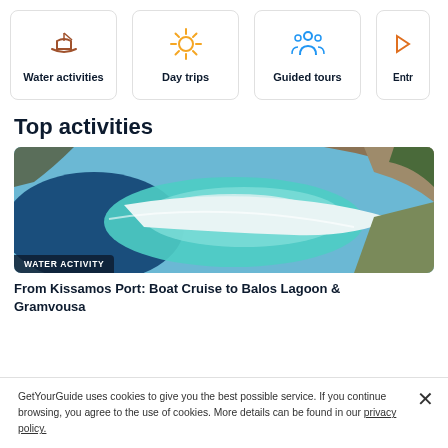[Figure (infographic): Category cards row: Water activities (boat icon, brown), Day trips (sun icon, yellow/orange), Guided tours (people icon, blue), Entertainment (partially visible, orange)]
Top activities
[Figure (photo): Aerial photo of Balos Lagoon in Crete showing turquoise water, white sandy beach, and rocky coastline. Badge overlay reads WATER ACTIVITY.]
From Kissamos Port: Boat Cruise to Balos Lagoon & Gramvousa
GetYourGuide uses cookies to give you the best possible service. If you continue browsing, you agree to the use of cookies. More details can be found in our privacy policy.